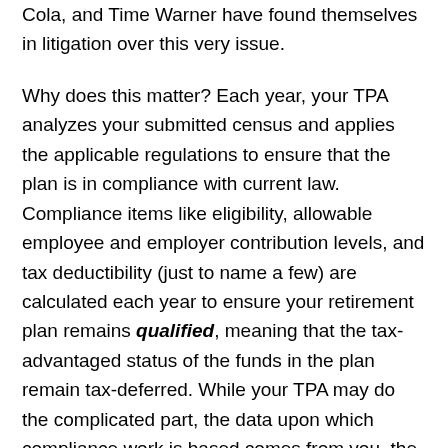Cola, and Time Warner have found themselves in litigation over this very issue.
Why does this matter? Each year, your TPA analyzes your submitted census and applies the applicable regulations to ensure that the plan is in compliance with current law. Compliance items like eligibility, allowable employee and employer contribution levels, and tax deductibility (just to name a few) are calculated each year to ensure your retirement plan remains qualified, meaning that the tax-advantaged status of the funds in the plan remain tax-deferred. While your TPA may do the complicated part, the data upon which compliance work is based comes from you, the employer.
So, what do you need to know to enroll and report the proper employees? We've listed some common employee status types below.